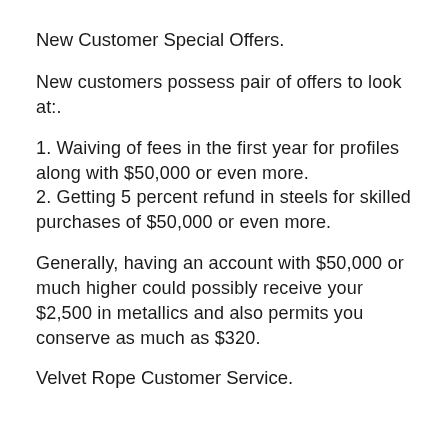New Customer Special Offers.
New customers possess pair of offers to look at:.
1. Waiving of fees in the first year for profiles along with $50,000 or even more.
2. Getting 5 percent refund in steels for skilled purchases of $50,000 or even more.
Generally, having an account with $50,000 or much higher could possibly receive your $2,500 in metallics and also permits you conserve as much as $320.
Velvet Rope Customer Service.